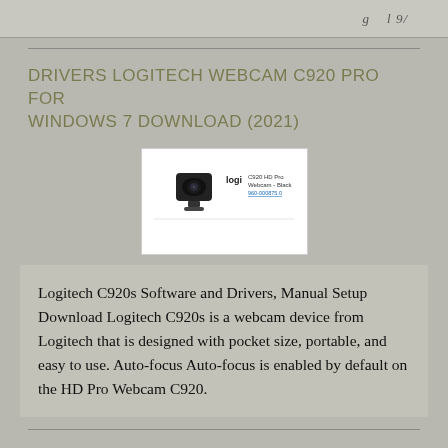g   l 9/
DRIVERS LOGITECH WEBCAM C920 PRO FOR WINDOWS 7 DOWNLOAD (2021)
[Figure (photo): Product image of Logitech C920 HD Pro Webcam in black with Logitech logi branding and product text]
Logitech C920s Software and Drivers, Manual Setup Download Logitech C920s is a webcam device from Logitech that is designed with pocket size, portable, and easy to use. Auto-focus Auto-focus is enabled by default on the HD Pro Webcam C920.